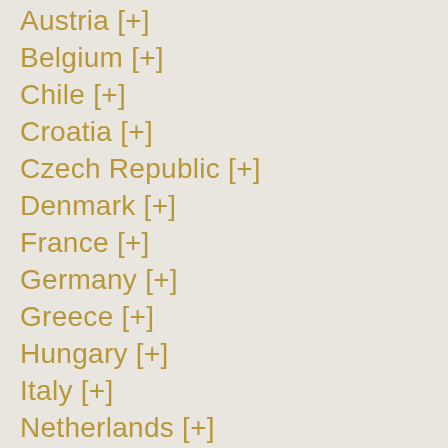Austria [+]
Belgium [+]
Chile [+]
Croatia [+]
Czech Republic [+]
Denmark [+]
France [+]
Germany [+]
Greece [+]
Hungary [+]
Italy [+]
Netherlands [+]
Poland [+]
Portugal [+]
Slovakia [+]